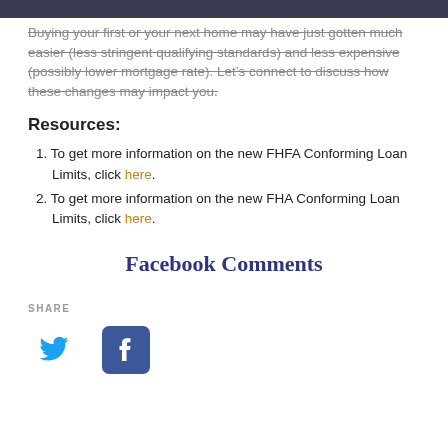Buying your first or your next home may have just gotten much easier (less stringent qualifying standards) and less expensive (possibly lower mortgage rate). Let's connect to discuss how these changes may impact you.
Resources:
1. To get more information on the new FHFA Conforming Loan Limits, click here.
2. To get more information on the new FHA Conforming Loan Limits, click here.
Facebook Comments
SHARE
[Figure (logo): Twitter bird logo icon in blue]
[Figure (logo): Facebook 'f' logo icon in blue square]